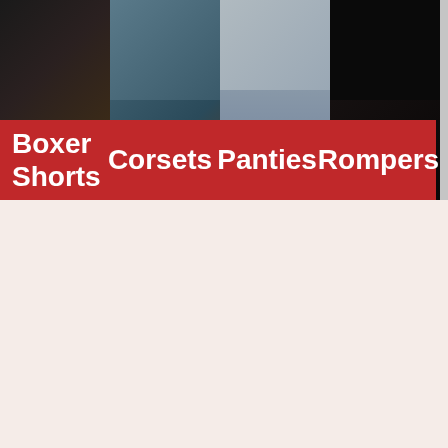[Figure (photo): A horizontal strip of four fashion photos showing models wearing different clothing items: boxer shorts (leftmost, dark background), corsets (blue/denim corset), panties (light gray/blue garment), and rompers (dark outfit). A gray panel appears at the far right edge.]
Boxer Shorts
Corsets
Panties
Rompers